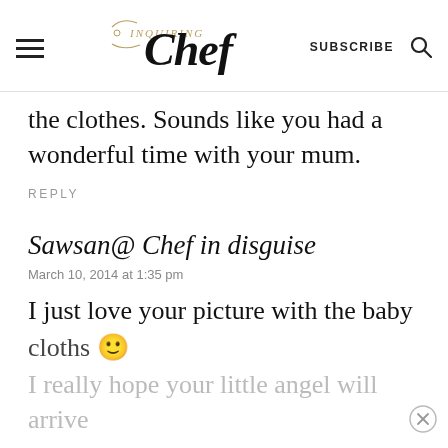Inquiring Chef — SUBSCRIBE
the clothes. Sounds like you had a wonderful time with your mum.
REPLY
Sawsan@ Chef in disguise
March 10, 2014 at 1:35 pm
I just love your picture with the baby cloths 🙂
I really hope your little angel will arrive